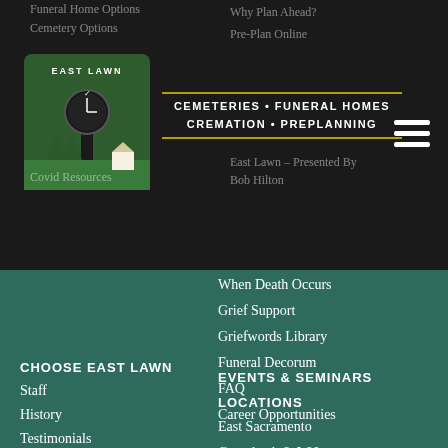Funeral Home Options | Cemetery Options | Covid Resources | Why Plan Ahead? | Pre-Plan Online | East Lawn – Presented By Bob Hilton
[Figure (logo): East Lawn logo with clock and building graphic]
CEMETERIES · FUNERAL HOMES
CREMATION · PREPLANNING
When Death Occurs
Grief Support
Griefwords Library
Funeral Decorum
FAQ
Career Opportunities
CHOOSE EAST LAWN
Staff
History
Testimonials
Videos
Blog
EVENTS & SEMINARS
LOCATIONS
East Sacramento
Greenback & I-80
Elk Grove